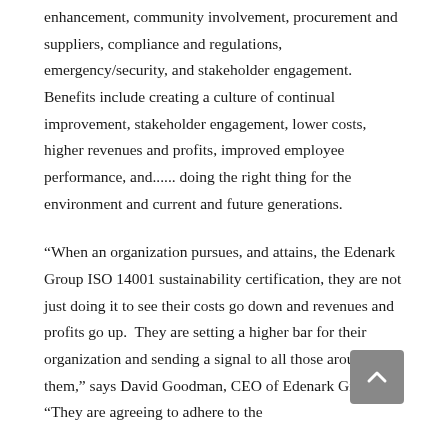enhancement, community involvement, procurement and suppliers, compliance and regulations, emergency/security, and stakeholder engagement. Benefits include creating a culture of continual improvement, stakeholder engagement, lower costs, higher revenues and profits, improved employee performance, and...... doing the right thing for the environment and current and future generations.
“When an organization pursues, and attains, the Edenark Group ISO 14001 sustainability certification, they are not just doing it to see their costs go down and revenues and profits go up.  They are setting a higher bar for their organization and sending a signal to all those around them,” says David Goodman, CEO of Edenark Group.  “They are agreeing to adhere to the